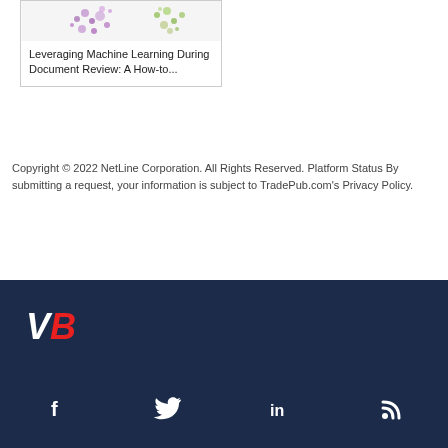[Figure (illustration): Thumbnail image showing purple and green dot cluster pattern on white background, part of a content card for machine learning article]
Leveraging Machine Learning During Document Review: A How-to...
Copyright © 2022 NetLine Corporation. All Rights Reserved. Platform Status By submitting a request, your information is subject to TradePub.com's Privacy Policy.
[Figure (logo): VB logo - white V and red B letters, italic bold, on dark navy background]
[Figure (infographic): Social media icons: Facebook f, Twitter bird, LinkedIn in, RSS feed - all white on dark navy footer bar]